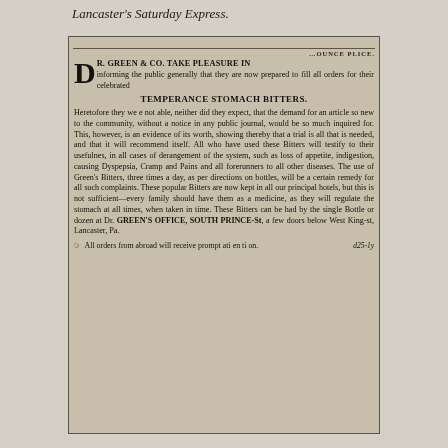Lancaster's Saturday Express.
[Figure (other): Newspaper advertisement for Dr. Green & Co. Temperance Stomach Bitters, Lancaster, Pa.]
DR. GREEN & CO. TAKE PLEASURE IN informing the public generally that they are now prepared to fill all orders for their celebrated TEMPERANCE STOMACH BITTERS. Heretofore they we e not able, neither did they expect, that the demand for an article so new to the community, without a notice in any public journal, would be so much inquired for. This, however, is an evidence of its worth, showing thereby that a trial is all that is needed, and that it will recommend itself. All who have used these Bitters will testify to their usefulnes, in all cases of derangement of the system, such as loss of appetite, indigestion, causing Dyspepsia, Cramp and Pains and all forerunners to all other diseases. The use of Green's Bitters, three times a day, as per directions on bottles, will be a certain remedy for all such complaints. These popular Bitters are now kept in all our principal hotels, but this is not sufficient—every family should have them as a medicine, as they will regulate the stomach at all times, when taken in time. These Bitters can be had by the single Bottle or dozen at Dr. GREEN'S OFFICE, SOUTH PRINCE-St, a few doors below West King-st, Lancaster, Pa. All orders from abroad will receive prompt attention. d25-1y